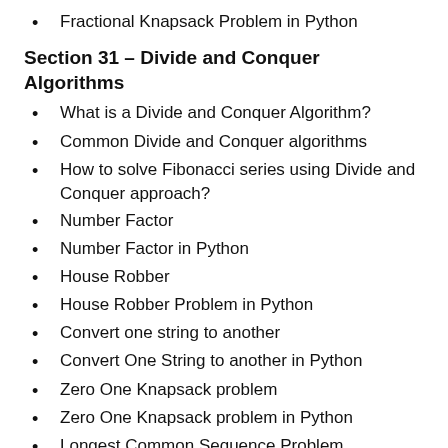Fractional Knapsack Problem in Python
Section 31 – Divide and Conquer Algorithms
What is a Divide and Conquer Algorithm?
Common Divide and Conquer algorithms
How to solve Fibonacci series using Divide and Conquer approach?
Number Factor
Number Factor in Python
House Robber
House Robber Problem in Python
Convert one string to another
Convert One String to another in Python
Zero One Knapsack problem
Zero One Knapsack problem in Python
Longest Common Sequence Problem
Longest Common Subsequence in Python
Longest Palindromic Subsequence Problem
Longest Palindromic Subsequence in